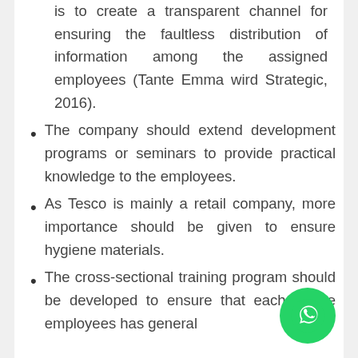is to create a transparent channel for ensuring the faultless distribution of information among the assigned employees (Tante Emma wird Strategic, 2016).
The company should extend development programs or seminars to provide practical knowledge to the employees.
As Tesco is mainly a retail company, more importance should be given to ensure hygiene materials.
The cross-sectional training program should be developed to ensure that each of the employees has general